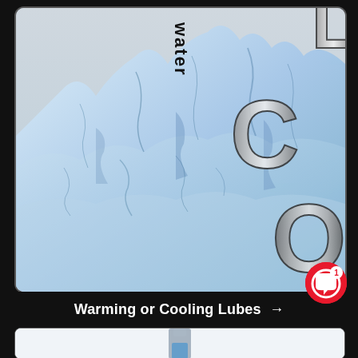[Figure (photo): A large glacier with blue-white ice formations against a light grey sky. Overlaid text reads 'water' vertically and partially visible large metallic letters 'COOL' on the right side of the image.]
Warming or Cooling Lubes →
[Figure (photo): Bottom portion of a product image showing what appears to be a bottle with a blue label, partially visible.]